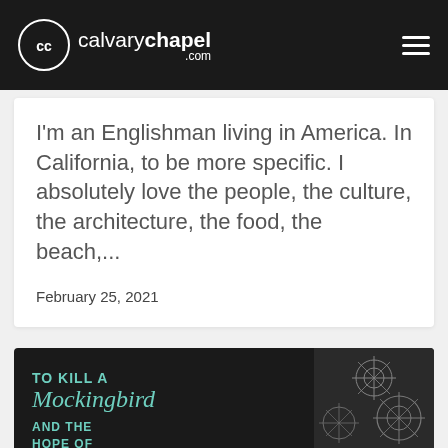[Figure (logo): Calvary Chapel logo with circular CC emblem and text 'calvarychapel.com' on dark navigation bar with hamburger menu icon]
I'm an Englishman living in America. In California, to be more specific. I absolutely love the people, the culture, the architecture, the food, the beach,...
February 25, 2021
[Figure (photo): Book cover showing 'TO KILL A Mockingbird AND THE HOPE OF RACIAL RECONCILIATION' with decorative snowflake/floral pattern on dark background]